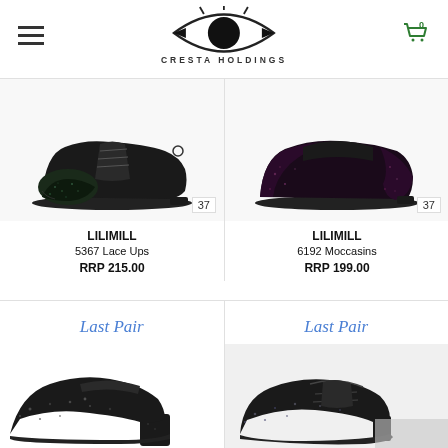CRESTA HOLDINGS
[Figure (photo): LILIMILL 5367 Lace Ups shoe, black with dark glitter toe, size 37 badge]
LILIMILL
5367 Lace Ups
RRP 215.00
[Figure (photo): LILIMILL 6192 Moccasins shoe, black with dark purple glitter, size 37 badge]
LILIMILL
6192 Moccasins
RRP 199.00
Last Pair
[Figure (photo): Black glitter heeled lace up shoe, partially visible]
Last Pair
[Figure (photo): Black leather and glitter lace up shoe, partially visible]